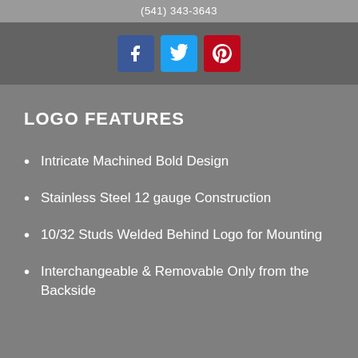(541) 343-3643
[Figure (logo): Social media icons: Facebook (blue), Twitter (cyan), Pinterest (red)]
LOGO FEATURES
Intricate Machined Bold Design
Stainless Steel 12 gauge Construction
10/32 Studs Welded Behind Logo for Mounting
Interchangeable & Removable Only from the Backside